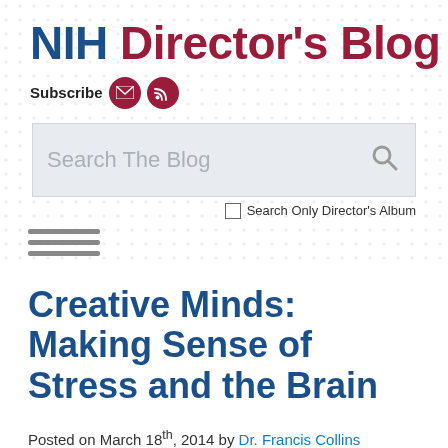NIH Director's Blog
Subscribe
[Figure (screenshot): Search bar with placeholder text 'Search The Blog' and a search icon, with a checkbox labeled 'Search Only Director's Album' below]
[Figure (infographic): Hamburger menu icon with three horizontal lines]
Creative Minds: Making Sense of Stress and the Brain
Posted on March 18th, 2014 by Dr. Francis Collins